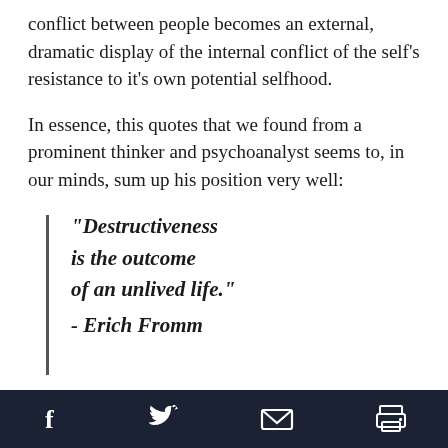conflict between people becomes an external, dramatic display of the internal conflict of the self's resistance to it's own potential selfhood.
In essence, this quotes that we found from a prominent thinker and psychoanalyst seems to, in our minds, sum up his position very well:
"Destructiveness is the outcome of an unlived life." - Erich Fromm
Social media share and print icons